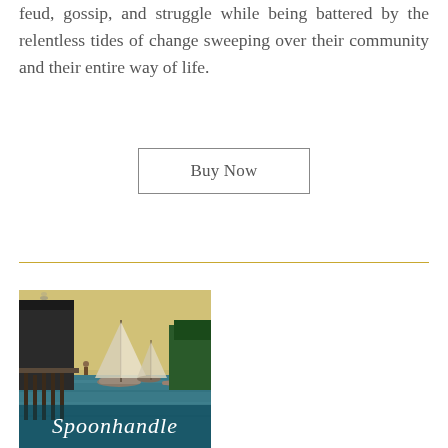feud, gossip, and struggle while being battered by the relentless tides of change sweeping over their community and their entire way of life.
Buy Now
[Figure (illustration): Book cover of 'Spoonhandle' showing a coastal harbor scene with sailboats, a dock, rocky shoreline, and forest in the background, with the title 'Spoonhandle' in large white text at the bottom.]